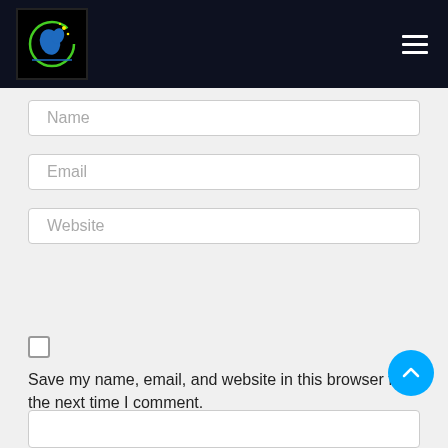[Figure (logo): Website logo with circular design, bird and star on dark background with green and blue accents]
[Figure (other): Hamburger menu icon — three white horizontal lines on dark background]
Name
Email
Website
Save my name, email, and website in this browser for the next time I comment.
[Figure (other): Scroll to top button — cyan/blue circle with upward chevron arrow]